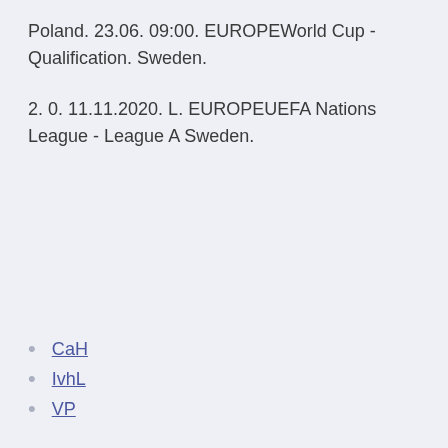Poland. 23.06. 09:00. EUROPEWorld Cup - Qualification. Sweden.
2. 0. 11.11.2020. L. EUROPEUEFA Nations League - League A Sweden.
СаН
IvhL
VP